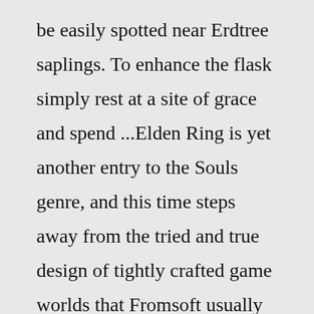be easily spotted near Erdtree saplings. To enhance the flask simply rest at a site of grace and spend ...Elden Ring is yet another entry to the Souls genre, and this time steps away from the tried and true design of tightly crafted game worlds that Fromsoft usually brings us. ... It's absolutely generic, as it copies infinite secondary and mini-bosses from the previous games. The game is an eternal liop in Definetly the worst